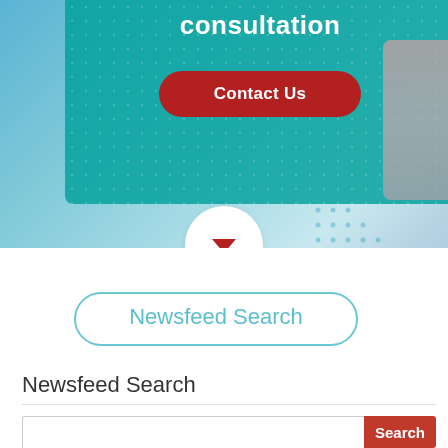[Figure (screenshot): Hero banner section with teal background box showing 'consultation' text and a red 'Contact Us' button. Blue gradient background with partial person visible on right. White circle with red down arrow at bottom.]
Newsfeed Search
Newsfeed Search
[Figure (screenshot): Search input field with red 'Search' button]